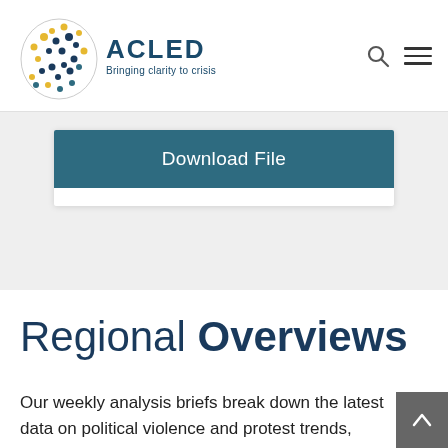ACLED — Bringing clarity to crisis
[Figure (logo): ACLED logo with globe made of colored dots and text 'ACLED Bringing clarity to crisis']
Download File
Regional Overviews
Our weekly analysis briefs break down the latest data on political violence and protest trends, highlighting